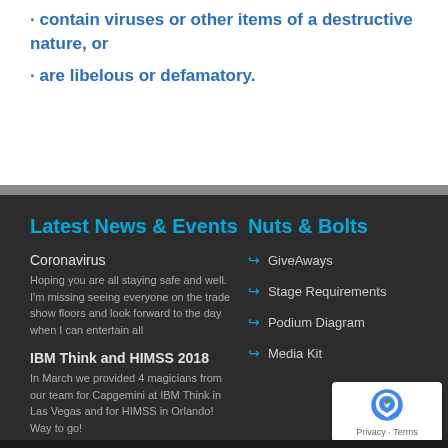· contain viruses or other items of a destructive nature, or
· are libelous or defamatory.
Latest News & Events
Nuts & Bolts
Coronavirus
Hoping you are all staying safe and well. I'm missing seeing everyone on the trade show floors and look forward to the day when I can entertain all
IBM Think and HIMSS 2018
In March we provided 4 magicians from our team for Capgemini at IBM Think in Las Vegas and for HIMSS in Orlando! Way to go!
GiveAways
Stage Requirements
Podium Diagram
Media Kit